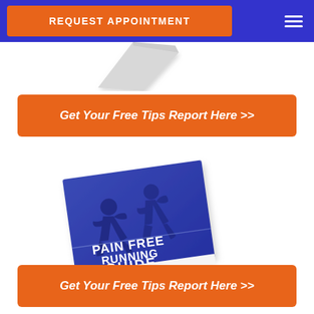REQUEST APPOINTMENT
[Figure (illustration): Partially visible book/report cover, tilted, light gray color, at top of white body area]
Get Your Free Tips Report Here >>
[Figure (photo): Pain Free Running Guide booklet cover by Pro+Kinetix, featuring two silhouetted runners on a blue background with white text reading PAIN FREE RUNNING GUIDE, EVERYTHING YOU NEED TO KNOW ABOUT RUNNING PAIN FREE, PRO+KINETIX logo]
Get Your Free Tips Report Here >>